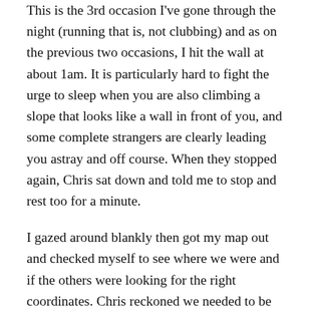This is the 3rd occasion I've gone through the night (running that is, not clubbing) and as on the previous two occasions, I hit the wall at about 1am. It is particularly hard to fight the urge to sleep when you are also climbing a slope that looks like a wall in front of you, and some complete strangers are clearly leading you astray and off course. When they stopped again, Chris sat down and told me to stop and rest too for a minute.
I gazed around blankly then got my map out and checked myself to see where we were and if the others were looking for the right coordinates. Chris reckoned we needed to be further east and he was right. We went back on ourselves slightly, crested another rise and bingo, there was the tent, lurking with the volunteers not getting out but punching our tallys through a gap in the zip because it was so cold.
We turned and saw a sudden horde of headtorches approaching up the hill so we cracked on towards the next CP at Hell Gap. Progress is slow; we are still walking directly